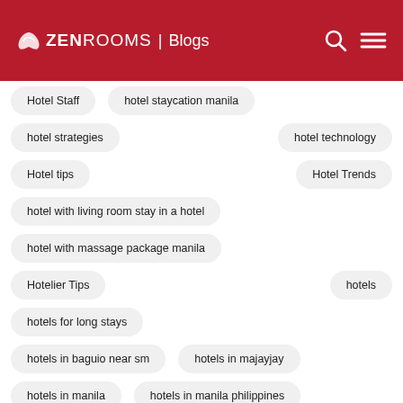ZEN ROOMS | Blogs
Hotel Staff
hotel staycation manila
hotel strategies
hotel technology
Hotel tips
Hotel Trends
hotel with living room stay in a hotel
hotel with massage package manila
Hotelier Tips
hotels
hotels for long stays
hotels in baguio near sm
hotels in majayjay
hotels in manila
hotels in manila philippines